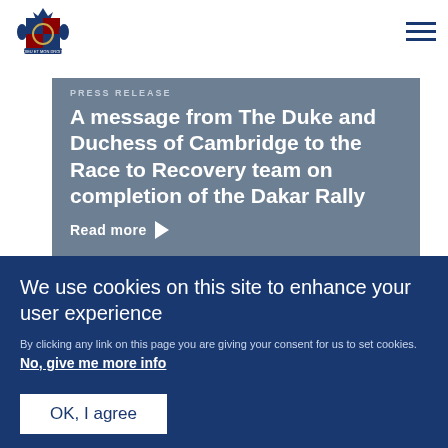[Figure (logo): Royal coat of arms / crest logo in dark navy blue]
[Figure (illustration): Hamburger menu icon — three horizontal navy lines]
PRESS RELEASE
A message from The Duke and Duchess of Cambridge to the Race to Recovery team on completion of the Dakar Rally
Read more ▶
[Figure (illustration): Large opening double quotation mark in dark navy]
We use cookies on this site to enhance your user experience
By clicking any link on this page you are giving your consent for us to set cookies. No, give me more info
OK, I agree